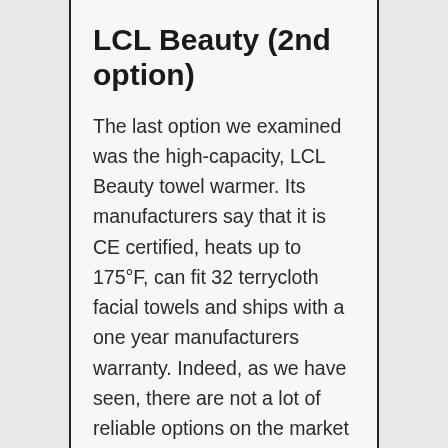LCL Beauty (2nd option)
The last option we examined was the high-capacity, LCL Beauty towel warmer. Its manufacturers say that it is CE certified, heats up to 175°F, can fit 32 terrycloth facial towels and ships with a one year manufacturers warranty. Indeed, as we have seen, there are not a lot of reliable options on the market if you are looking for